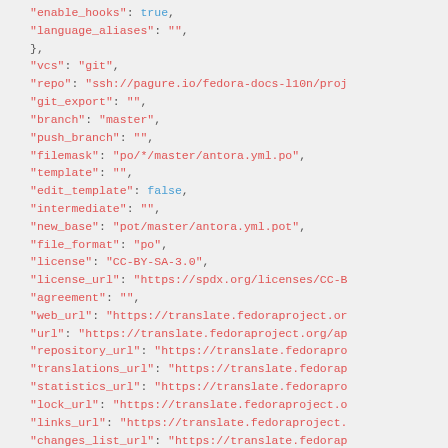JSON configuration code snippet showing fields: enable_hooks, language_aliases, vcs, repo, git_export, branch, push_branch, filemask, template, edit_template, intermediate, new_base, file_format, license, license_url, agreement, web_url, url, repository_url, translations_url, statistics_url, lock_url, links_url, changes_list_url, task_url, new_lang, language_code_style, push, check_flags